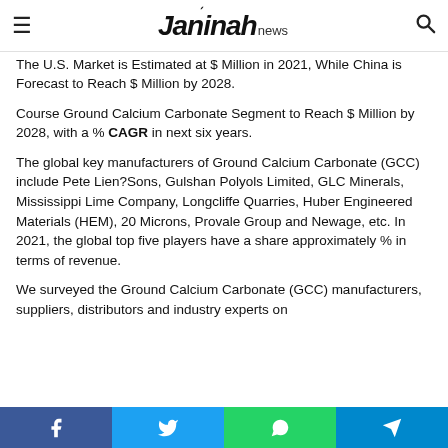≡  Jannah news  🔍
The U.S. Market is Estimated at $ Million in 2021, While China is Forecast to Reach $ Million by 2028.
Course Ground Calcium Carbonate Segment to Reach $ Million by 2028, with a % CAGR in next six years.
The global key manufacturers of Ground Calcium Carbonate (GCC) include Pete Lien?Sons, Gulshan Polyols Limited, GLC Minerals, Mississippi Lime Company, Longcliffe Quarries, Huber Engineered Materials (HEM), 20 Microns, Provale Group and Newage, etc. In 2021, the global top five players have a share approximately % in terms of revenue.
We surveyed the Ground Calcium Carbonate (GCC) manufacturers, suppliers, distributors and industry experts on...
Facebook | Twitter | WhatsApp | Telegram